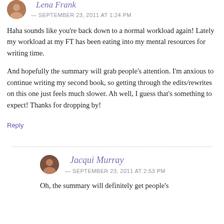Lena Frank
— SEPTEMBER 23, 2011 AT 1:24 PM
Haha sounds like you're back down to a normal workload again! Lately my workload at my FT has been eating into my mental resources for writing time.
And hopefully the summary will grab people's attention. I'm anxious to continue writing my second book, so getting through the edits/rewrites on this one just feels much slower. Ah well, I guess that's something to expect! Thanks for dropping by!
Reply
Jacqui Murray
— SEPTEMBER 23, 2011 AT 2:53 PM
Oh, the summary will definitely get people's